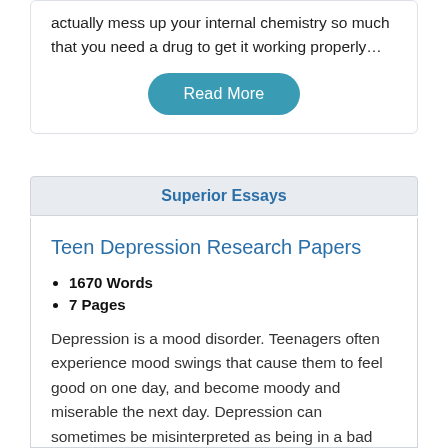…it is that you're and years of chemical depression, can actually mess up your internal chemistry so much that you need a drug to get it working properly…
[Figure (other): Read More button — teal rounded rectangle with white text]
Superior Essays
Teen Depression Research Papers
1670 Words
7 Pages
Depression is a mood disorder. Teenagers often experience mood swings that cause them to feel good on one day, and become moody and miserable the next day. Depression can sometimes be misinterpreted as being in a bad mood but